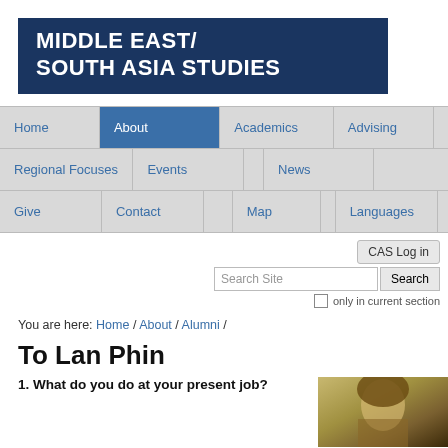MIDDLE EAST/ SOUTH ASIA STUDIES
[Figure (screenshot): Navigation menu with items: Home, About (active), Academics, Advising, Regional Focuses, Events, News, Give, Contact, Map, Languages]
CAS Log in
Search Site  Search  only in current section
You are here: Home / About / Alumni /
To Lan Phin
1. What do you do at your present job?
[Figure (photo): Portrait photo of To Lan Phin]